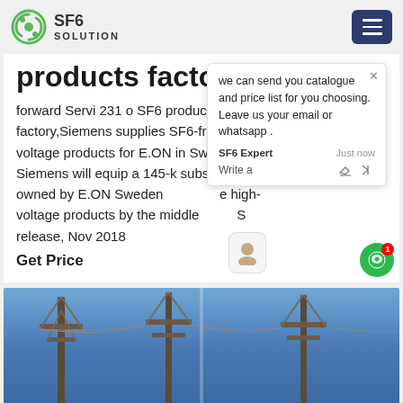SF6 SOLUTION
products factory
forward Servi 231 o SF6 products factory,Siemens supplies SF6-free high-voltage products for E.ON in Sweden Siemens will equip a 145-k substation owned by E.ON Sweden e high-voltage products by the middle S release, Nov 2018
Get Price
[Figure (screenshot): Chat popup with SF6 Expert agent offering to send catalogue and price list, asking for email or whatsapp]
[Figure (photo): Electrical transmission towers and power lines against a blue sky]